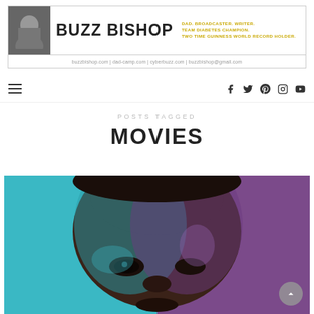[Figure (logo): Buzz Bishop personal brand banner with photo, name in bold, taglines: DAD. BROADCASTER. WRITER. TEAM DIABETES CHAMPION. TWO TIME GUINNESS WORLD RECORD HOLDER. Website links: buzzbishop.com | dad-camp.com | cyberbuzz.com | buzzbishop@gmail.com]
buzzbishop.com | dad-camp.com | cyberbuzz.com | buzzbishop@gmail.com
≡  f  Twitter  Pinterest  Instagram  YouTube
POSTS TAGGED
MOVIES
[Figure (photo): Close-up portrait of a young Black man's face split by teal and purple lighting, appears to be a movie poster for Moonlight]